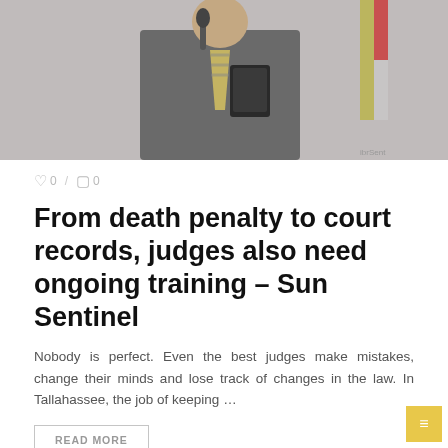[Figure (photo): Photo of a man in a suit with a striped tie speaking at a microphone in a courtroom setting, with a flag visible in the background.]
0 / 0
From death penalty to court records, judges also need ongoing training – Sun Sentinel
Nobody is perfect. Even the best judges make mistakes, change their minds and lose track of changes in the law. In Tallahassee, the job of keeping ...
READ MORE
PARKLAND COURSES